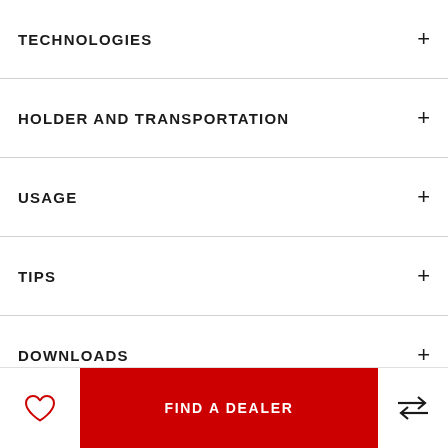TECHNOLOGIES
HOLDER AND TRANSPORTATION
USAGE
TIPS
DOWNLOADS
FIND A DEALER